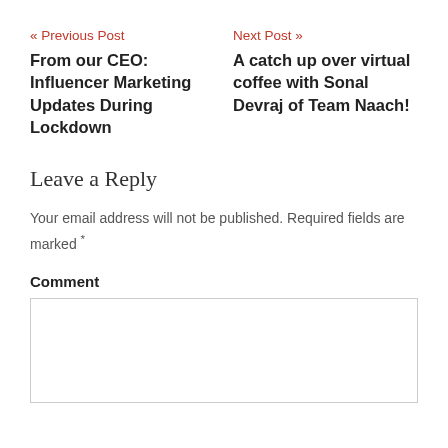« Previous Post
From our CEO: Influencer Marketing Updates During Lockdown
Next Post »
A catch up over virtual coffee with Sonal Devraj of Team Naach!
Leave a Reply
Your email address will not be published. Required fields are marked *
Comment
[Figure (other): Empty comment text area input box]